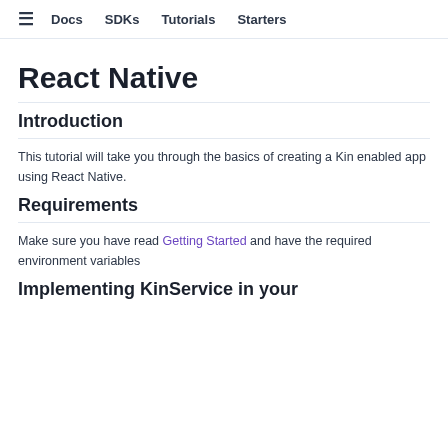≡  Docs  SDKs  Tutorials  Starters
React Native
Introduction
This tutorial will take you through the basics of creating a Kin enabled app using React Native.
Requirements
Make sure you have read Getting Started and have the required environment variables
Implementing KinService in your